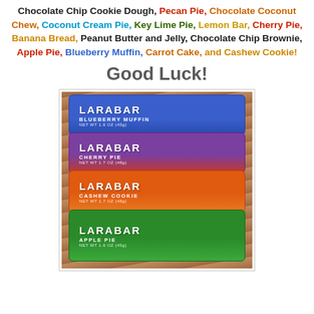Chocolate Chip Cookie Dough, Pecan Pie, Chocolate Coconut Chew, Coconut Cream Pie, Key Lime Pie, Lemon Bar, Cherry Pie, Banana Bread, Peanut Butter and Jelly, Chocolate Chip Brownie, Apple Pie, Blueberry Muffin, Carrot Cake, and Cashew Cookie!
Good Luck!
[Figure (photo): Stack of four Larabar energy bars on a wooden surface: Blueberry Muffin (blue wrapper), Cherry Pie (purple/red wrapper), Cashew Cookie (orange wrapper), Apple Pie (green wrapper)]